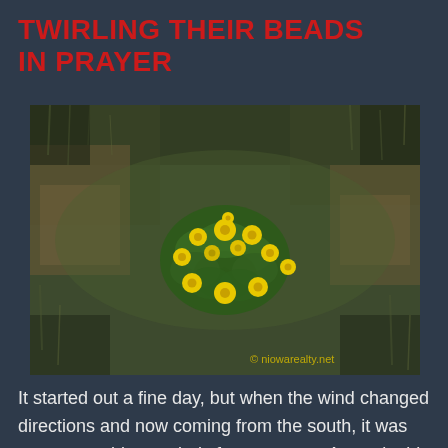TWIRLING THEIR BEADS IN PRAYER
[Figure (photo): Aerial photograph of yellow flowers (marsh marigolds or similar) blooming amid green and brown grass, viewed from above. A watermark reads '© niowarealty.net' in the lower right corner.]
It started out a fine day, but when the wind changed directions and now coming from the south, it was warm yet a bit too windy for my tastes. Around mid-afternoon I noticed it was